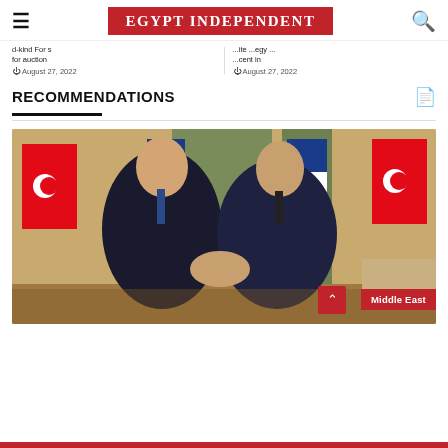EGYPT INDEPENDENT
d-kind For s... ...cent in for auction...
August 27, 2022
...ite ...egy ...er...
August 27, 2022
RECOMMENDATIONS
[Figure (photo): Two men in dark suits shaking hands in front of Turkish and Russian flags. One man on the left appears to be Turkish President Erdogan, and on the right appears to be Russian President Putin. A 'Middle East' category badge is shown in the bottom right corner.]